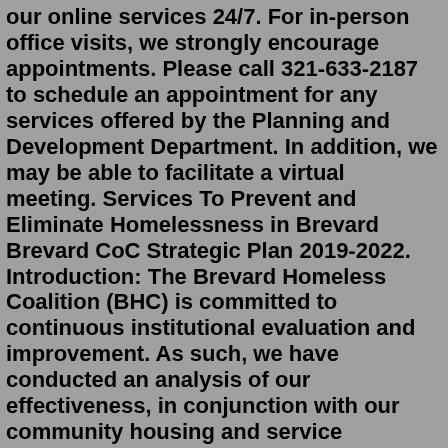our online services 24/7. For in-person office visits, we strongly encourage appointments. Please call 321-633-2187 to schedule an appointment for any services offered by the Planning and Development Department. In addition, we may be able to facilitate a virtual meeting. Services To Prevent and Eliminate Homelessness in Brevard Brevard CoC Strategic Plan 2019-2022. Introduction: The Brevard Homeless Coalition (BHC) is committed to continuous institutional evaluation and improvement. As such, we have conducted an analysis of our effectiveness, in conjunction with our community housing and service providers, and ... Meetings are held on Thursdays from 4 - 6 pm about every 6 weeks at the Brevard County Government Center at Viera. Can you attend? Go to Question; By Florida Statutes, the Affordable Housing Council must be made up of persons representing different interests and professions. Environmental Health Services. Please see e-mail contact information to the left for individual programs. The e-mail address below